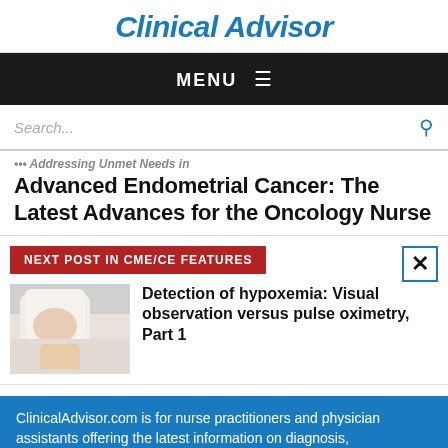Clinical Advisor
MENU
Search...
Addressing Unmet Needs in Advanced Endometrial Cancer: The Latest Advances for the Oncology Nurse
NEXT POST IN CME/CE FEATURES
[Figure (photo): Photo of an infant wrapped in white blankets]
Detection of hypoxemia: Visual observation versus pulse oximetry, Part 1
ClinicalAdvisor.com is for nurse practitioners and physician assistants offering the latest information on diagnosis,